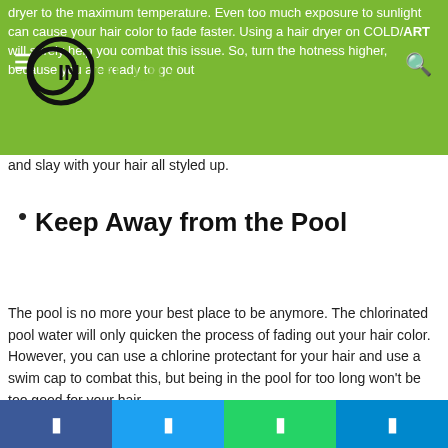dryer to the maximum temperature. Even too much exposure to sunlight can cause your hair color to fade faster. Using a hair dryer on COLD/ART will surely help you combat this issue. So, turn the hotness higher, because you are ready to go out and slay with your hair all styled up.
Keep Away from the Pool
The pool is no more your best place to be anymore. The chlorinated pool water will only quicken the process of fading out your hair color. However, you can use a chlorine protectant for your hair and use a swim cap to combat this, but being in the pool for too long won't be too good for your hair.
Avoid Hot Showers